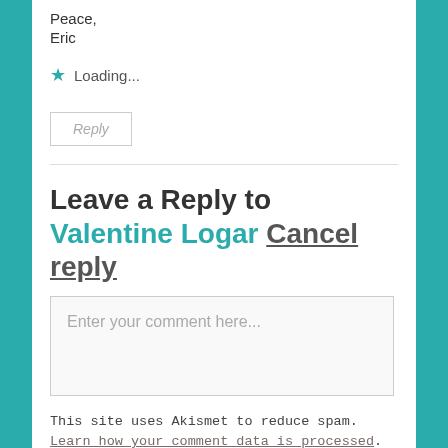Peace,
Eric
★ Loading...
Reply
Leave a Reply to Valentine Logar Cancel reply
Enter your comment here...
This site uses Akismet to reduce spam. Learn how your comment data is processed.